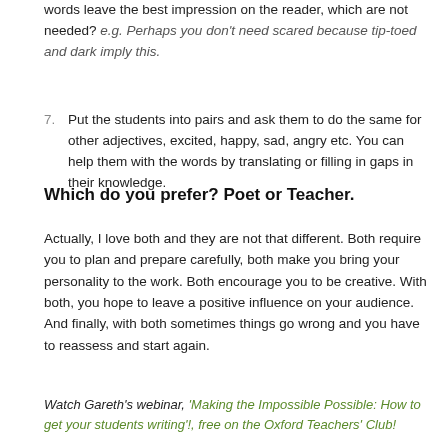words leave the best impression on the reader, which are not needed? e.g. Perhaps you don't need scared because tip-toed and dark imply this.
7. Put the students into pairs and ask them to do the same for other adjectives, excited, happy, sad, angry etc. You can help them with the words by translating or filling in gaps in their knowledge.
Which do you prefer? Poet or Teacher.
Actually, I love both and they are not that different. Both require you to plan and prepare carefully, both make you bring your personality to the work. Both encourage you to be creative. With both, you hope to leave a positive influence on your audience. And finally, with both sometimes things go wrong and you have to reassess and start again.
Watch Gareth’s webinar, ‘Making the Impossible Possible: How to get your students writing’!, free on the Oxford Teachers’ Club!